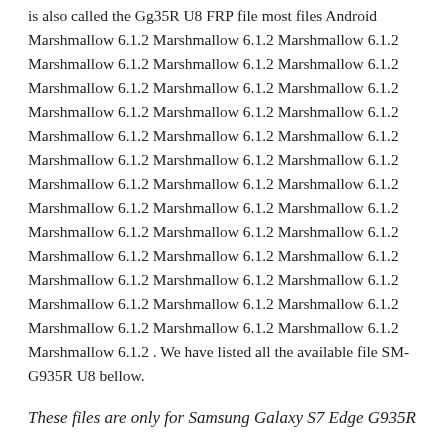is also called the Gg35R U8 FRP file most files Android Marshmallow 6.1.2 Marshmallow 6.1.2 Marshmallow 6.1.2 Marshmallow 6.1.2 Marshmallow 6.1.2 Marshmallow 6.1.2 Marshmallow 6.1.2 Marshmallow 6.1.2 Marshmallow 6.1.2 Marshmallow 6.1.2 Marshmallow 6.1.2 Marshmallow 6.1.2 Marshmallow 6.1.2 Marshmallow 6.1.2 Marshmallow 6.1.2 Marshmallow 6.1.2 Marshmallow 6.1.2 Marshmallow 6.1.2 Marshmallow 6.1.2 Marshmallow 6.1.2 Marshmallow 6.1.2 Marshmallow 6.1.2 Marshmallow 6.1.2 Marshmallow 6.1.2 Marshmallow 6.1.2 Marshmallow 6.1.2 Marshmallow 6.1.2 Marshmallow 6.1.2 Marshmallow 6.1.2 Marshmallow 6.1.2 Marshmallow 6.1.2 Marshmallow 6.1.2 Marshmallow 6.1.2 Marshmallow 6.1.2 Marshmallow 6.1.2 Marshmallow 6.1.2 Marshmallow 6.1.2 Marshmallow 6.1.2 Marshmallow 6.1.2 Marshmallow 6.1.2 . We have listed all the available file SM-G935R U8 bellow.
These files are only for Samsung Galaxy S7 Edge G935R
Samsung Galaxy S7 Edge G935R